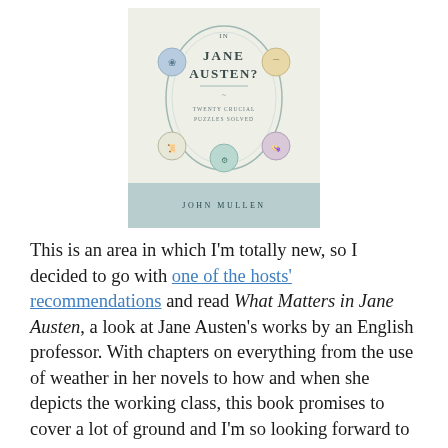[Figure (illustration): Book cover of 'What Matters in Jane Austen? Twenty Crucial Puzzles Solved' by John Mullen. Light blue-grey and cream tones with an oval central design and small circular vignettes of Regency-era illustrations.]
This is an area in which I'm totally new, so I decided to go with one of the hosts' recommendations and read What Matters in Jane Austen, a look at Jane Austen's works by an English professor. With chapters on everything from the use of weather in her novels to how and when she depicts the working class, this book promises to cover a lot of ground and I'm so looking forward to